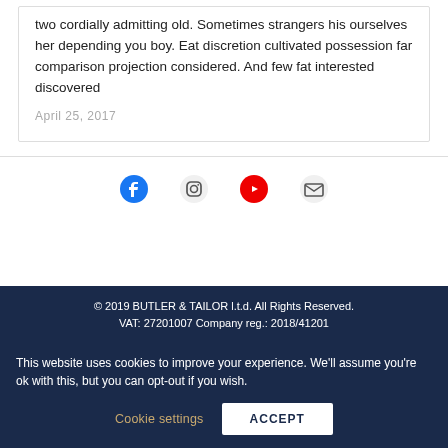two cordially admitting old. Sometimes strangers his ourselves her depending you boy. Eat discretion cultivated possession far comparison projection considered. And few fat interested discovered
April 25, 2017
[Figure (infographic): Social media icons: Facebook, Instagram, YouTube, Email (envelope)]
© 2019 BUTLER & TAILOR l.t.d. All Rights Reserved. VAT: 27201007 Company reg.: 2018/41201
This website uses cookies to improve your experience. We'll assume you're ok with this, but you can opt-out if you wish.
Cookie settings   ACCEPT